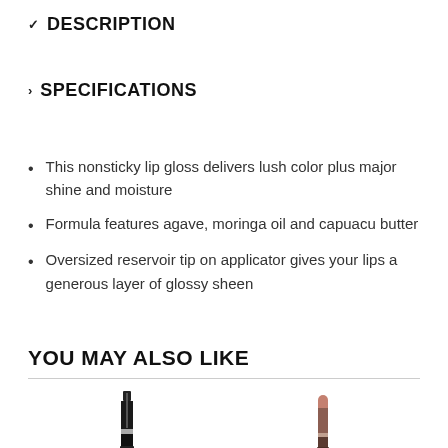DESCRIPTION
SPECIFICATIONS
This nonsticky lip gloss delivers lush color plus major shine and moisture
Formula features agave, moringa oil and capuacu butter
Oversized reservoir tip on applicator gives your lips a generous layer of glossy sheen
YOU MAY ALSO LIKE
[Figure (photo): Two lipstick products shown at bottom of page]